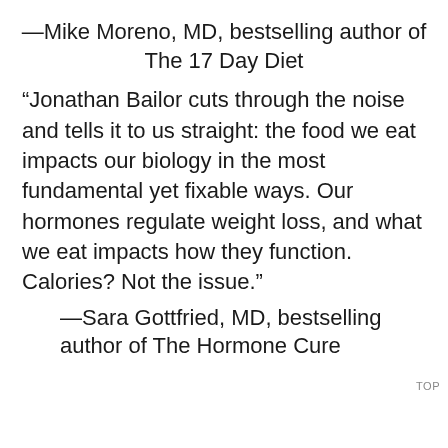—Mike Moreno, MD, bestselling author of The 17 Day Diet
“Jonathan Bailor cuts through the noise and tells it to us straight: the food we eat impacts our biology in the most fundamental yet fixable ways. Our hormones regulate weight loss, and what we eat impacts how they function. Calories? Not the issue.”
—Sara Gottfried, MD, bestselling author of The Hormone Cure